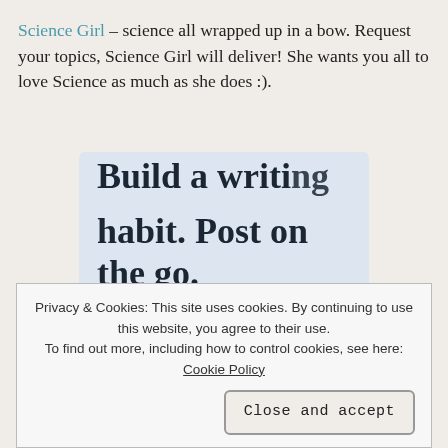Science Girl – science all wrapped up in a bow. Request your topics, Science Girl will deliver! She wants you all to love Science as much as she does :).
[Figure (screenshot): Partially visible promotional image with large bold serif text reading 'Build a writing habit. Post on the go.' on a light blue-grey background, with a partial app icon visible at the bottom right.]
Privacy & Cookies: This site uses cookies. By continuing to use this website, you agree to their use. To find out more, including how to control cookies, see here: Cookie Policy
Close and accept